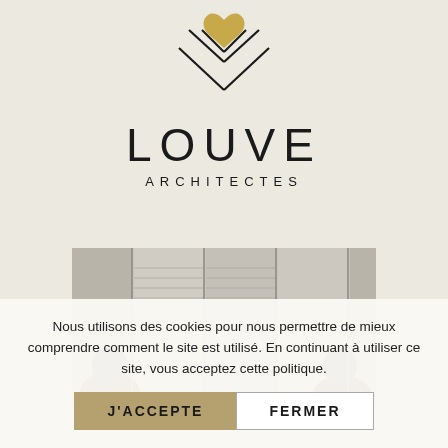[Figure (logo): Louve Architectes logo with geometric diamond/chevron shape and a gold heart, above the text LOUVE ARCHITECTES]
LOUVE
ARCHITECTES
[Figure (photo): Black and white photograph of two women partially visible behind wooden shuttered doors/panels]
Nous utilisons des cookies pour nous permettre de mieux comprendre comment le site est utilisé. En continuant à utiliser ce site, vous acceptez cette politique.
J'ACCEPTE
FERMER